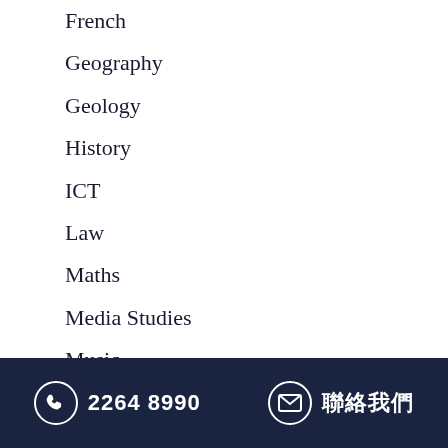French
Geography
Geology
History
ICT
Law
Maths
Media Studies
Music
Philosophy
Photography
2264 8990  聯絡我們